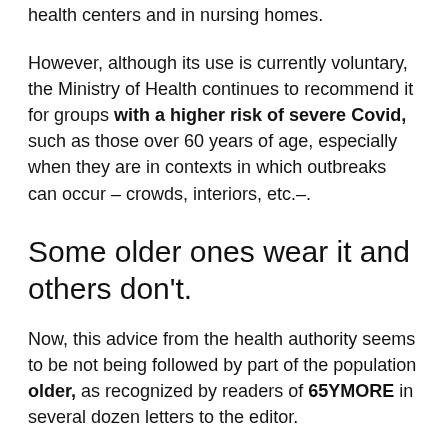health centers and in nursing homes.
However, although its use is currently voluntary, the Ministry of Health continues to recommend it for groups with a higher risk of severe Covid, such as those over 60 years of age, especially when they are in contexts in which outbreaks can occur – crowds, interiors, etc.–.
Some older ones wear it and others don't.
Now, this advice from the health authority seems to be not being followed by part of the population older, as recognized by readers of 65YMORE in several dozen letters to the editor.
And this relaxation of the measures by the older population has consequences: specifically, according to what they say, a large number of them they would be infecting during group